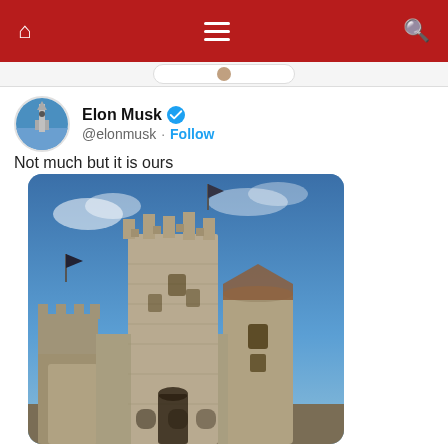Home | Menu | Search
[Figure (screenshot): Partial UI bar with rounded tab element visible]
Elon Musk @elonmusk · Follow
Not much but it is ours
[Figure (photo): Photo of a medieval stone castle with battlements, round towers, and a blue sky background]